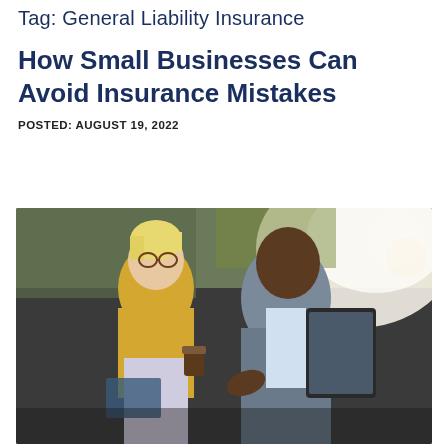Tag: General Liability Insurance
How Small Businesses Can Avoid Insurance Mistakes
POSTED: AUGUST 19, 2022
[Figure (photo): Two business professionals — a woman with short blonde hair wearing glasses and a yellow sleeveless top holding a coffee cup, and a man in a grey vest and white shirt holding a tablet — sitting together in a casual office environment, appearing to have a business discussion.]